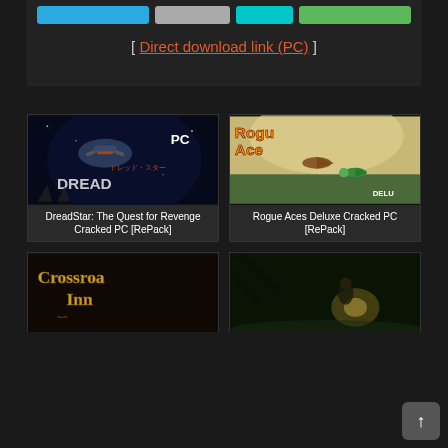[ Direct download link (PC) ]
[Figure (screenshot): DreadStar: The Quest for Revenge game cover showing a sci-fi spaceship with Japanese text and 'PC' label]
DreadStar: The Quest for Revenge Cracked PC [RePack]
[Figure (screenshot): Rogue Aces Deluxe game cover showing colorful planes in a dogfight]
Rogue Aces Deluxe Cracked PC [RePack]
[Figure (screenshot): Crossroads Inn game cover with gothic golden logo text]
[Figure (screenshot): Unknown game cover showing a woman with a lantern in a dark forest]